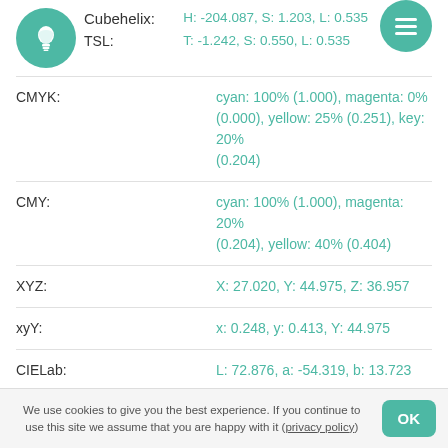Cubehelix: H: -204.087, S: 1.203, L: 0.535
TSL: T: -1.242, S: 0.550, L: 0.535
CMYK: cyan: 100% (1.000), magenta: 0% (0.000), yellow: 25% (0.251), key: 20% (0.204)
CMY: cyan: 100% (1.000), magenta: 20% (0.204), yellow: 40% (0.404)
XYZ: X: 27.020, Y: 44.975, Z: 36.957
xyY: x: 0.248, y: 0.413, Y: 44.975
CIELab: L: 72.876, a: -54.319, b: 13.723
CIELuv: L: 72.876, u: -61.410, v: 28.269
CIELCH / LCHab: L: 72.876, C: 56.026, H: 165.822
We use cookies to give you the best experience. If you continue to use this site we assume that you are happy with it (privacy policy)